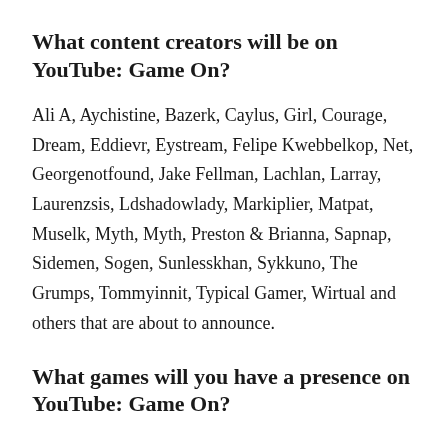What content creators will be on YouTube: Game On?
Ali A, Aychistine, Bazerk, Caylus, Girl, Courage, Dream, Eddievr, Eystream, Felipe Kwebbelkop, Net, Georgenotfound, Jake Fellman, Lachlan, Larray, Laurenzsis, Ldshadowlady, Markiplier, Matpat, Muselk, Myth, Myth, Preston & Brianna, Sapnap, Sidemen, Sogen, Sunlesskhan, Sykkuno, The Grumps, Tommyinnit, Typical Gamer, Wirtual and others that are about to announce.
What games will you have a presence on YouTube: Game On?